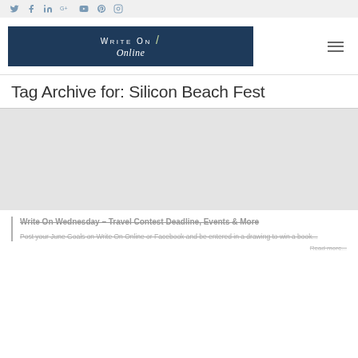Social icons: Twitter, Facebook, LinkedIn, Google+, YouTube, Pinterest, Instagram
[Figure (logo): Write On Online logo — dark navy blue banner with white text 'WRITE ON Online' and a decorative pen, with hamburger menu icon to the right]
Tag Archive for: Silicon Beach Fest
[Figure (photo): Gray placeholder image area for a blog post]
Write On Wednesday – Travel Contest Deadline, Events & More
Post your June Goals on Write On Online or Facebook and be entered in a drawing to win a book...
Read more...